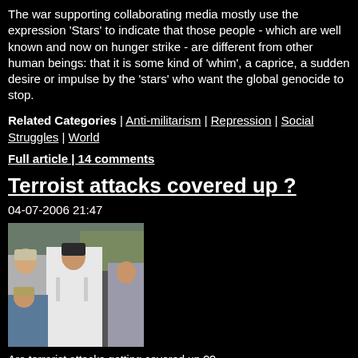The war supporting collaborating media mostly use the expression 'Stars' to indicate that those people - which are well known and now on hunger strike - are different from other human beings: that it is some kind of 'whim', a caprice, a sudden desire or impulse by the 'stars' who want the global genocide to stop.
Related Categories | Anti-militarism | Repression | Social Struggles | World
Full article | 14 comments
Terroist attacks covered up ?
04-07-2006 21:47
[Figure (photo): Photo of several people in a crowd, including a person in a white police/officer uniform, at what appears to be a public event or protest.]
Are terrorist attacks getting covered up ?? Debate !!